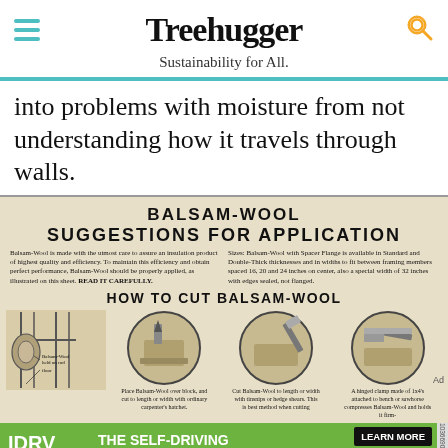Treehugger — Sustainability for All.
into problems with moisture from not understanding how it travels through walls.
[Figure (illustration): Vintage advertisement for Balsam-Wool insulation product showing suggestions for application and how to cut Balsam-Wool, with illustrations of a roll on a rod, three circular images showing cutting techniques, and captions describing placement and cutting methods.]
[Figure (other): IDRV from iShares banner advertisement: THE SELF-DRIVING EV & TECH ETF — LEARN MORE — Fidelity]